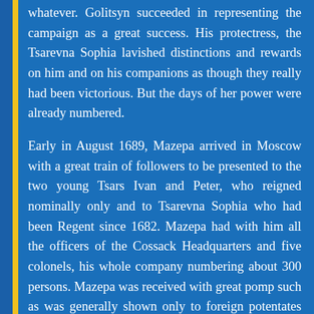whatever. Golitsyn succeeded in representing the campaign as a great success. His protectress, the Tsarevna Sophia lavished distinctions and rewards on him and on his companions as though they really had been victorious. But the days of her power were already numbered.
Early in August 1689, Mazepa arrived in Moscow with a great train of followers to be presented to the two young Tsars Ivan and Peter, who reigned nominally only and to Tsarevna Sophia who had been Regent since 1682. Mazepa had with him all the officers of the Cossack Headquarters and five colonels, his whole company numbering about 300 persons. Mazepa was received with great pomp such as was generally shown only to foreign potentates and their